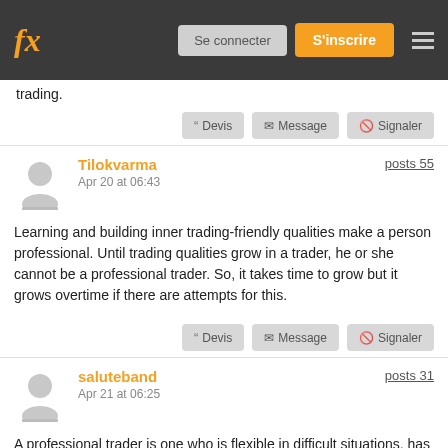fx | Se connecter | S'inscrire
trading.
Devis | Message | Signaler
Tilokvarma
Apr 20 at 06:43
posts 55
Learning and building inner trading-friendly qualities make a person professional. Until trading qualities grow in a trader, he or she cannot be a professional trader. So, it takes time to grow but it grows overtime if there are attempts for this.
Devis | Message | Signaler
saluteband
Apr 21 at 06:25
posts 31
A professional trader is one who is flexible in difficult situations, has a trading strategy and sticks to it, manages risk wisely, and understands their own strengths and shortcomings. They never become comfortable with